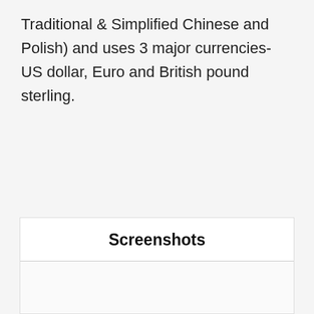Traditional & Simplified Chinese and Polish) and uses 3 major currencies- US dollar, Euro and British pound sterling.
Screenshots
[Figure (screenshot): Empty screenshot area below the Screenshots section header]